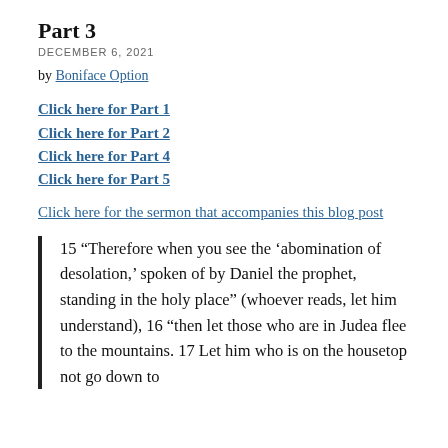Part 3
DECEMBER 6, 2021
by Boniface Option
Click here for Part 1
Click here for Part 2
Click here for Part 4
Click here for Part 5
Click here for the sermon that accompanies this blog post
15 “Therefore when you see the ‘abomination of desolation,’ spoken of by Daniel the prophet, standing in the holy place” (whoever reads, let him understand), 16 “then let those who are in Judea flee to the mountains. 17 Let him who is on the housetop not go down to